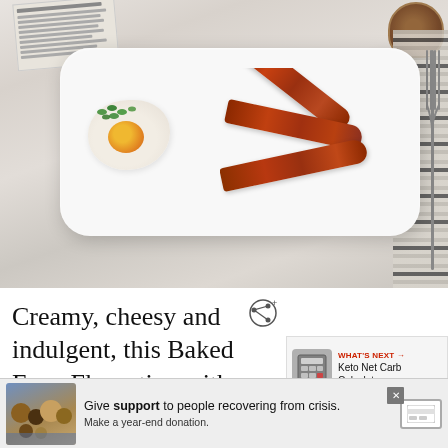[Figure (photo): Overhead photo of a white rectangular plate on a marble surface with a fried egg topped with green herbs and strips of crispy bacon. A folded striped linen napkin and fork are visible on the right, a glass of tea/coffee in the top right corner, and a newspaper in the top left.]
Creamy, cheesy and indulgent, this Baked Eggs Florentine with Ham dish is a brunch classic. With a touch of cream, a sp... and sa... iss
[Figure (infographic): Share icon (circle with connected dots and plus sign) in top-right area of text section.]
[Figure (infographic): WHAT'S NEXT promotional box showing a calculator icon and text 'Keto Net Carb Calculator'.]
[Figure (infographic): Advertisement banner at bottom: image of diverse family group on left, text reading 'Give support to people recovering from crisis. Make a year-end donation.' with a close (X) button and credit card icon.]